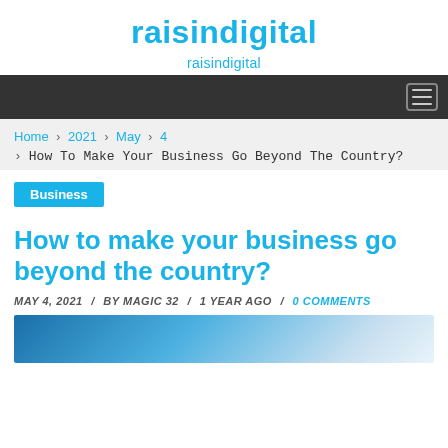raisindigital
raisindigital
Home > 2021 > May > 4
> How To Make Your Business Go Beyond The Country?
Business
How to make your business go beyond the country?
MAY 4, 2021 / BY MAGIC 32 / 1 YEAR AGO / 0 COMMENTS
[Figure (photo): Partial photo of a person in business attire, cropped at bottom of page]